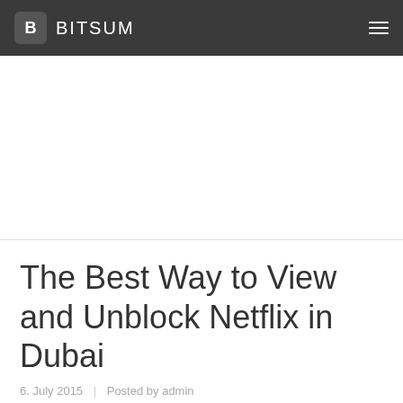B BITSUM
The Best Way to View and Unblock Netflix in Dubai
6. July 2015  |  Posted by admin